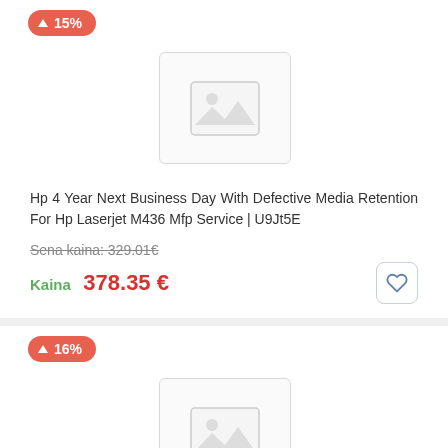[Figure (screenshot): Product image placeholder with mountain/photo icon]
Hp 4 Year Next Business Day With Defective Media Retention For Hp Laserjet M436 Mfp Service | U9Jt5E
Sena kaina: 329.01€
Kaina 378.35 €
[Figure (screenshot): Second product image placeholder with mountain/photo icon]